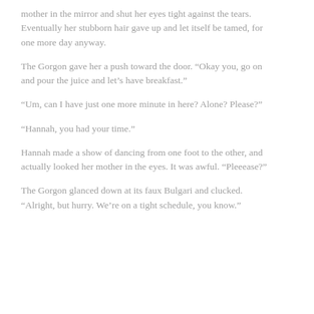mother in the mirror and shut her eyes tight against the tears.  Eventually her stubborn hair gave up and let itself be tamed, for one more day anyway.
The Gorgon gave her a push toward the door. “Okay you, go on and pour the juice and let’s have breakfast.”
“Um, can I have just one more minute in here?  Alone? Please?”
“Hannah, you had your time.”
Hannah made a show of dancing from one foot to the other, and actually looked her mother in the eyes.  It was awful.  “Pleeease?”
The Gorgon glanced down at its faux Bulgari and clucked.  “Alright, but hurry.  We’re on a tight schedule, you know.”